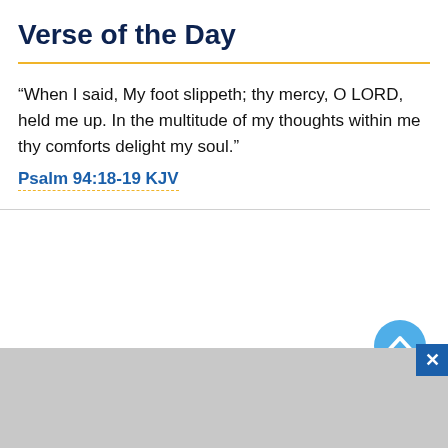Verse of the Day
“When I said, My foot slippeth; thy mercy, O LORD, held me up. In the multitude of my thoughts within me thy comforts delight my soul.”
Psalm 94:18-19 KJV